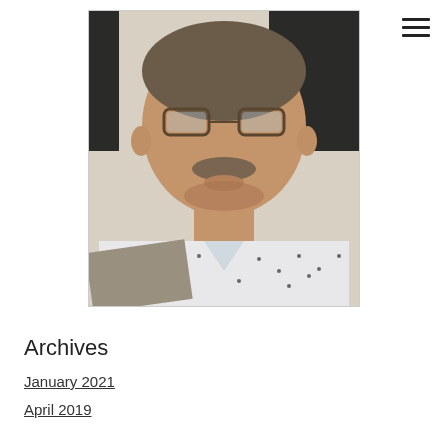[Figure (photo): Portrait photo of a middle-aged man with glasses and a mustache, wearing a patterned shirt, seated in a dark chair against a light background.]
Archives
January 2021
April 2019